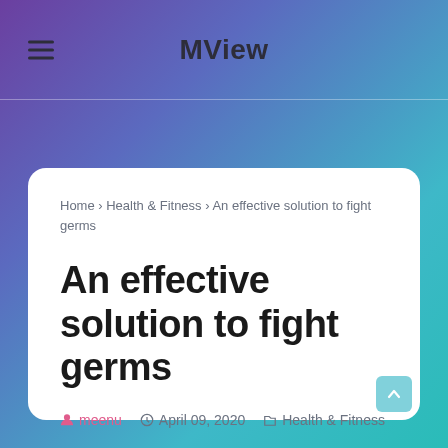MView
Home › Health & Fitness › An effective solution to fight germs
An effective solution to fight germs
meenu   April 09, 2020   Health & Fitness